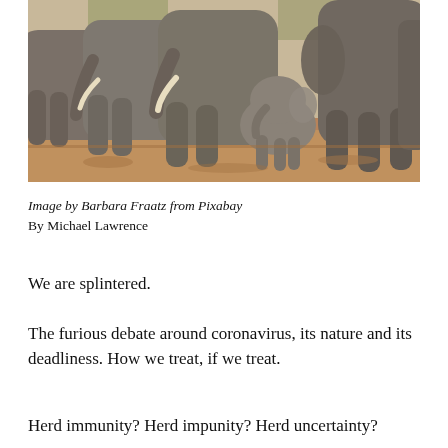[Figure (photo): A group of elephants including a baby elephant, standing on reddish-brown dirt, viewed from close up. Multiple large elephants with tusks surround a small calf.]
Image by Barbara Fraatz from Pixabay
By Michael Lawrence
We are splintered.
The furious debate around coronavirus, its nature and its deadliness. How we treat, if we treat.
Herd immunity? Herd impunity? Herd uncertainty?